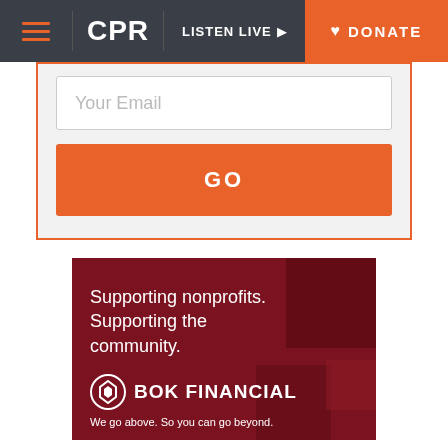CPR | LISTEN LIVE | DONATE
Your Email
GO
[Figure (illustration): BOK Financial advertisement on dark red background. Text reads: 'Supporting nonprofits. Supporting the community.' with BOK Financial logo and tagline 'We go above. So you can go beyond.']